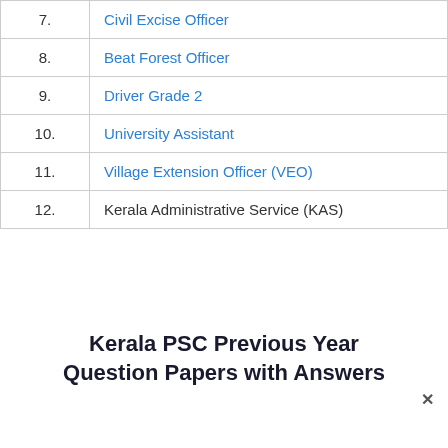| No. | Position |
| --- | --- |
| 7. | Civil Excise Officer |
| 8. | Beat Forest Officer |
| 9. | Driver Grade 2 |
| 10. | University Assistant |
| 11. | Village Extension Officer (VEO) |
| 12. | Kerala Administrative Service (KAS) |
Kerala PSC Previous Year Question Papers with Answers